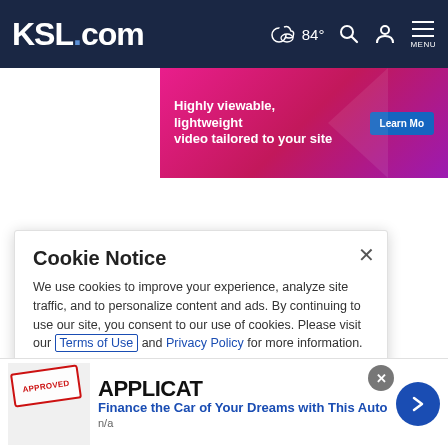KSL.com  84°  MENU
[Figure (screenshot): Pink/magenta advertisement banner: 'Highly viewable, lightweight video tailored to your site' with 'Learn Mo[re]' button]
Advertise with us   Report ad
KSL WEATHER FORECAST
Cookie Notice

We use cookies to improve your experience, analyze site traffic, and to personalize content and ads. By continuing to use our site, you consent to our use of cookies. Please visit our Terms of Use and Privacy Policy for more information.
[Figure (screenshot): Bottom advertisement bar: 'Finance the Car of Your Dreams with This Auto' with approved stamp image, n/a text, and blue arrow button]